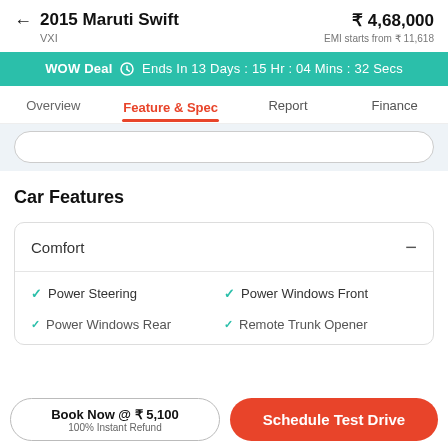2015 Maruti Swift VXI — ₹ 4,68,000 — EMI starts from ₹ 11,618
WOW Deal  Ends In 13 Days : 15 Hr : 04 Mins : 32 Secs
Overview | Feature & Spec | Report | Finance
Car Features
Comfort —
Power Steering
Power Windows Front
Power Windows Rear
Remote Trunk Opener
Book Now @ ₹ 5,100 — 100% Instant Refund
Schedule Test Drive